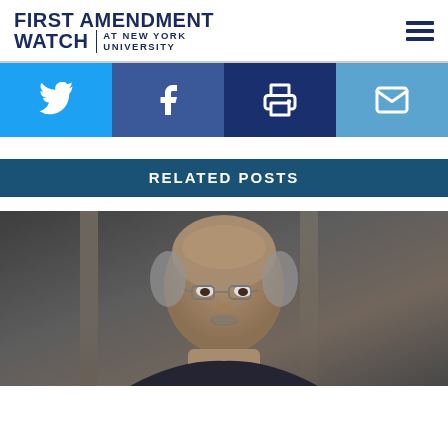FIRST AMENDMENT WATCH AT NEW YORK UNIVERSITY
[Figure (infographic): Social media sharing buttons: Twitter (blue), Facebook (dark blue), Print (dark navy), Email (light blue)]
RELATED POSTS
[Figure (photo): Portrait photograph of a man with glasses and gray hair, partially bald, looking slightly upward, with a blurred architectural background]